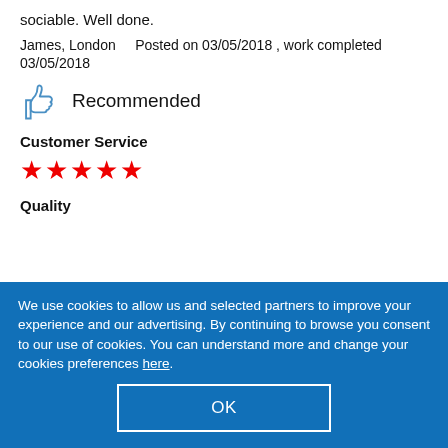sociable. Well done.
James, London    Posted on 03/05/2018 , work completed 03/05/2018
Recommended
Customer Service
★★★★★
Quality
We use cookies to allow us and selected partners to improve your experience and our advertising. By continuing to browse you consent to our use of cookies. You can understand more and change your cookies preferences here.
OK